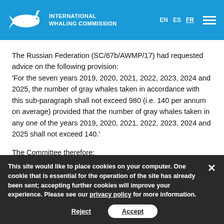INTERNATIONAL WHALING COMMISSION
The Russian Federation (SC/67b/AWMP/17) had requested advice on the following provision:
'For the seven years 2019, 2020, 2021, 2022, 2023, 2024 and 2025, the number of gray whales taken in accordance with this sub-paragraph shall not exceed 980 (i.e. 140 per annum on average) provided that the number of gray whales taken in any one of the years 2019, 2020, 2021, 2022, 2023, 2024 and 2025 shall not exceed 140.'
The Committee therefore:
This site would like to place cookies on your computer. One cookie that is essential for the operation of the site has already been sent; accepting further cookies will improve your experience. Please see our privacy policy for more information.